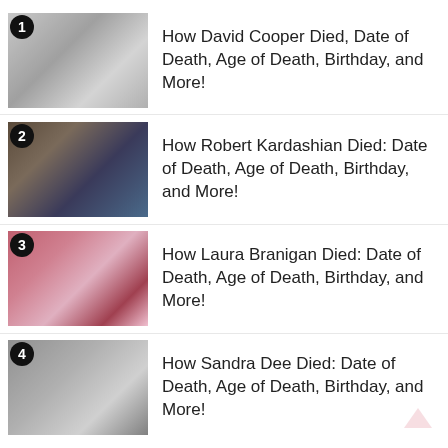How David Cooper Died, Date of Death, Age of Death, Birthday, and More!
How Robert Kardashian Died: Date of Death, Age of Death, Birthday, and More!
How Laura Branigan Died: Date of Death, Age of Death, Birthday, and More!
How Sandra Dee Died: Date of Death, Age of Death, Birthday, and More!